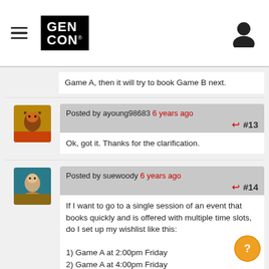GEN CON [logo] [user icon]
Game A, then it will try to book Game B next.
Posted by ayoung98683 6 years ago #13
Ok, got it. Thanks for the clarification.
Posted by suewoody 6 years ago #14
If I want to go to a single session of an event that books quickly and is offered with multiple time slots, do I set up my wishlist like this:
1) Game A at 2:00pm Friday
2) Game A at 4:00pm Friday